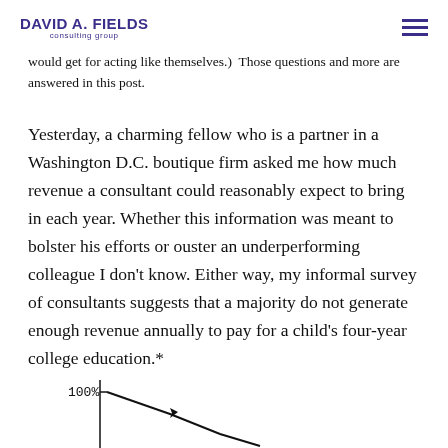DAVID A. FIELDS consulting group
would get for acting like themselves.)  Those questions and more are answered in this post.
Yesterday, a charming fellow who is a partner in a Washington D.C. boutique firm asked me how much revenue a consultant could reasonably expect to bring in each year. Whether this information was meant to bolster his efforts or ouster an underperforming colleague I don’t know. Either way, my informal survey of consultants suggests that a majority do not generate enough revenue annually to pay for a child’s four-year college education.*
[Figure (line-chart): Partial chart showing y-axis with 100% label and a downward-sloping line starting from near top, cropped at bottom of page]